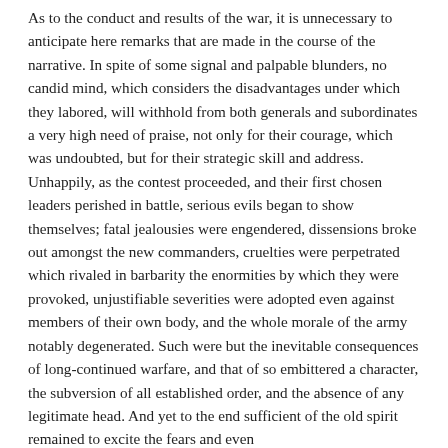As to the conduct and results of the war, it is unnecessary to anticipate here remarks that are made in the course of the narrative. In spite of some signal and palpable blunders, no candid mind, which considers the disadvantages under which they labored, will withhold from both generals and subordinates a very high need of praise, not only for their courage, which was undoubted, but for their strategic skill and address. Unhappily, as the contest proceeded, and their first chosen leaders perished in battle, serious evils began to show themselves; fatal jealousies were engendered, dissensions broke out amongst the new commanders, cruelties were perpetrated which rivaled in barbarity the enormities by which they were provoked, unjustifiable severities were adopted even against members of their own body, and the whole morale of the army notably degenerated. Such were but the inevitable consequences of long-continued warfare, and that of so embittered a character, the subversion of all established order, and the absence of any legitimate head. And yet to the end sufficient of the old spirit remained to excite the fears and even